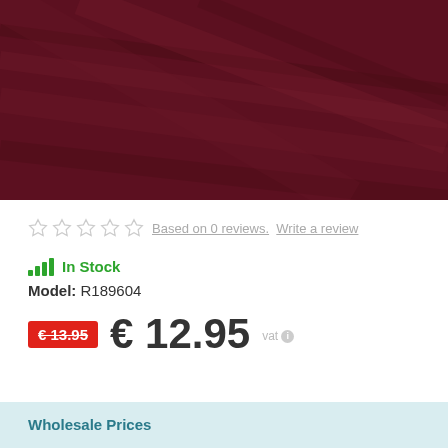[Figure (photo): Close-up photo of dark burgundy/maroon fabric texture with diagonal folds]
Based on 0 reviews.  Write a review
In Stock
Model: R189604
€ 13.95  € 12.95  vat
Wholesale Prices